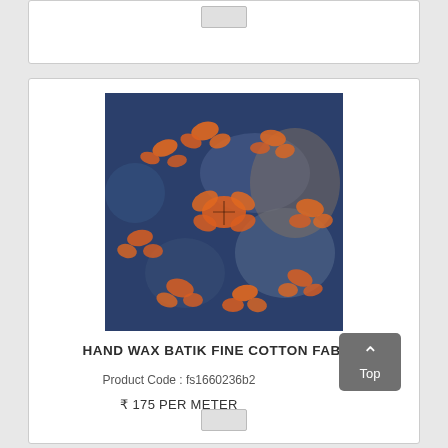[Figure (photo): Partial product card from previous listing showing a small navigation button at top center]
[Figure (photo): Close-up photo of hand wax batik fine cotton fabric with navy blue background and orange/rust butterfly and floral motif pattern]
HAND WAX BATIK FINE COTTON FABRIC
Product Code : fs1660236b2
₹ 175 PER METER